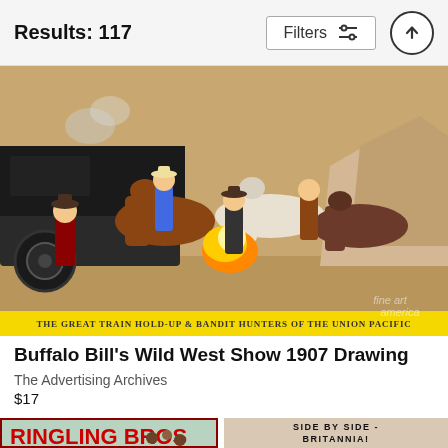Results: 117
Filters
[Figure (illustration): Buffalo Bill's Wild West Show 1907 poster illustration showing cowboys, horses, a train, and a gunfight scene. Caption reads: THE GREAT TRAIN HOLD-UP & BANDIT HUNTERS OF THE UNION PACIFIC. Watermark: fine art america.]
Buffalo Bill's Wild West Show 1907 Drawing
The Advertising Archives
$17
[Figure (illustration): Ringling Bros circus poster thumbnail showing animals performing]
[Figure (illustration): Side by Side Britannia WWI poster thumbnail showing patriotic figures]